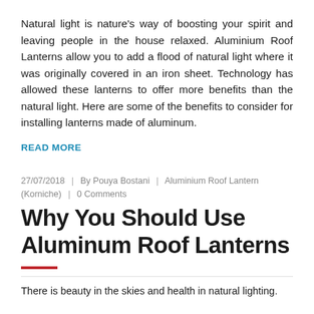Natural light is nature's way of boosting your spirit and leaving people in the house relaxed. Aluminium Roof Lanterns allow you to add a flood of natural light where it was originally covered in an iron sheet. Technology has allowed these lanterns to offer more benefits than the natural light. Here are some of the benefits to consider for installing lanterns made of aluminum.
READ MORE
27/07/2018 | By Pouya Bostani | Aluminium Roof Lantern (Korniche) | 0 Comments
Why You Should Use Aluminum Roof Lanterns
There is beauty in the skies and health in natural lighting.